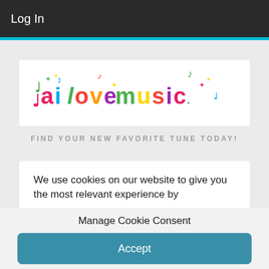Log In
[Figure (logo): ai love music colorful logo with musical notes and symbols]
FIND YOUR NEW FAVORITE TUNE TODAY!
We use cookies on our website to give you the most relevant experience by
Manage Cookie Consent
We use cookies to optimize our website and our service.
Accept